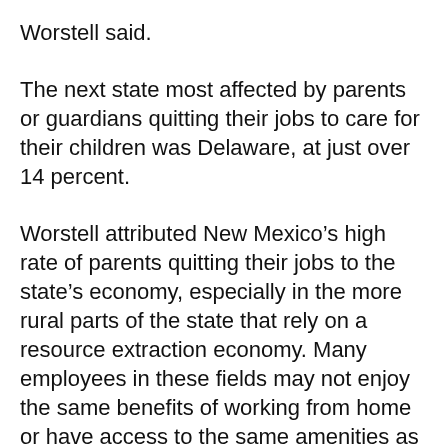Worstell said.
The next state most affected by parents or guardians quitting their jobs to care for their children was Delaware, at just over 14 percent.
Worstell attributed New Mexico’s high rate of parents quitting their jobs to the state’s economy, especially in the more rural parts of the state that rely on a resource extraction economy. Many employees in these fields may not enjoy the same benefits of working from home or have access to the same amenities as their urban counterparts do. “It might also be possible that there is just a disproportionate number of workers there that do not have access to paid time off or even unpaid